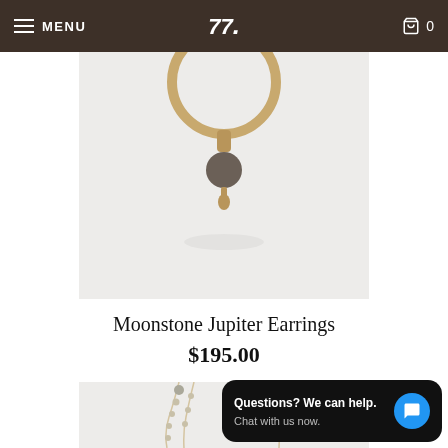MENU | [Logo] | 0
[Figure (photo): Close-up photo of a moonstone and gold earring with a dark gray stone bead pendant against a light gray background]
Moonstone Jupiter Earrings
$195.00
[Figure (photo): Photo of a delicate chain necklace with small gemstone beads against a light gray background]
Questions? We can help. Chat with us now.